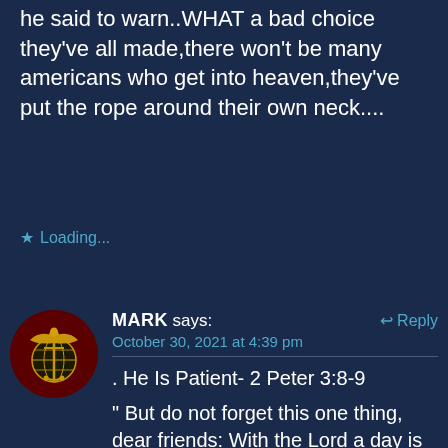he said to warn..WHAT a bad choice they've all made,there won't be many americans who get into heaven,they've put the rope around their own neck....
Loading...
[Figure (illustration): Circular avatar with US Marine Corps Eagle Globe and Anchor emblem in gold on dark red/maroon background]
MARK says: Reply
October 30, 2021 at 4:39 pm
. He Is Patient- 2 Peter 3:8-9
" But do not forget this one thing, dear friends: With the Lord a day is like a thousand years, and a thousand years are like a day. The Lord is not slow in keeping his promise, as some